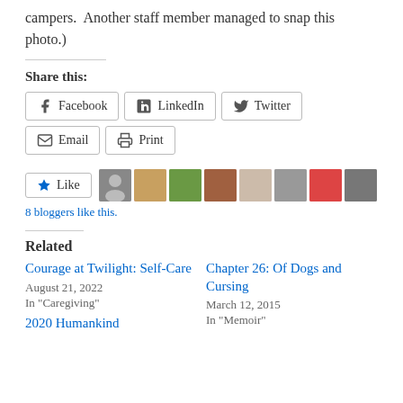campers.  Another staff member managed to snap this photo.)
Share this:
Facebook  LinkedIn  Twitter  Email  Print
[Figure (other): Like button and 8 blogger avatars]
8 bloggers like this.
Related
Courage at Twilight: Self-Care
August 21, 2022
In "Caregiving"
Chapter 26: Of Dogs and Cursing
March 12, 2015
In "Memoir"
2020 Humankind